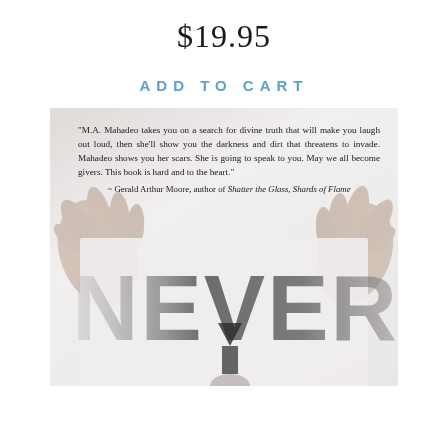$19.95
ADD TO CART
[Figure (photo): Book cover image showing hands holding a sign with the word NEVER, with a quote from Gerald Arthur Moore overlaid at the top]
"M.A. Mahadeo takes you on a search for divine truth that will make you laugh out loud, then she'll show you the darkness and dirt that threatens to invade. Mahadeo shows you her scars. She is going to speak to you. May we all become givers. This book is hard and to the heart." ~ Gerald Arthur Moore, author of Shatter the Glass, Shards of Flame